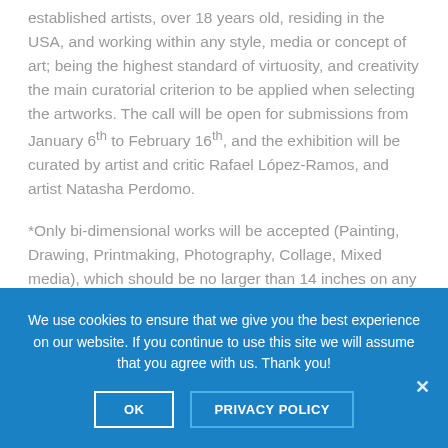established artists, over 18 years old, residing in the USA, and working within any style, media or concept of art; being the highest standard of virtuosity, and creativity the main curatorial criterion to be applied when selecting the artworks. The call will be open for submissions from January 6th to February 16th, and the exhibition will be curated by artist and critic Rafael López-Ramos, and artist Natasha Perdomo.
*Only bi-dimensional works will be accepted (Painting, Drawing, Printmaking, Photography, Collage, Mixed media), which should be no larger than 14 inches on any side, created within the last 3 years, and not had
We use cookies to ensure that we give you the best experience on our website. If you continue to use this site we will assume that you agree with us. Thank you!